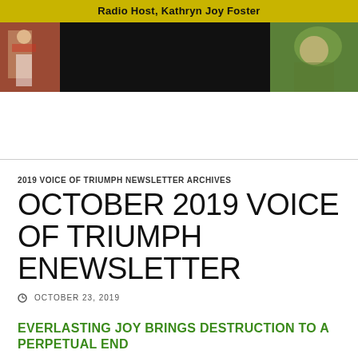Radio Host, Kathryn Joy Foster
[Figure (photo): Banner with yellow background and header text 'Radio Host, Kathryn Joy Foster', with left photo of a person in street scene, center dark/black area, and right photo of a person in nature]
2019 VOICE OF TRIUMPH NEWSLETTER ARCHIVES
OCTOBER 2019 VOICE OF TRIUMPH ENEWSLETTER
OCTOBER 23, 2019
EVERLASTING JOY BRINGS DESTRUCTION TO A PERPETUAL END